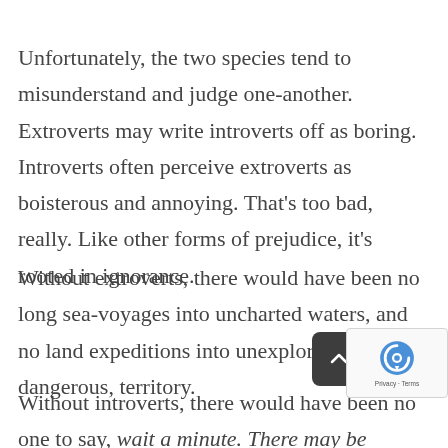Unfortunately, the two species tend to misunderstand and judge one-another. Extroverts may write introverts off as boring. Introverts often perceive extroverts as boisterous and annoying. That's too bad, really. Like other forms of prejudice, it's rooted in ignorance.
Without extroverts, there would have been no long sea-voyages into uncharted waters, and no land expeditions into unexplored, dangerous, territory.
Without introverts, there would have been no one to say, wait a minute. There may be